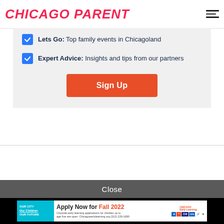CHICAGO PARENT
Lets Go: Top family events in Chicagoland
Expert Advice: Insights and tips from our partners
Sign Up
Close
[Figure (infographic): Ad banner for Chicago Early Learning: Apply Now for Fall 2022. Citywide early learning applications for children up to age five are open. Chicagoearlylearning.org (312) 229-1690.]